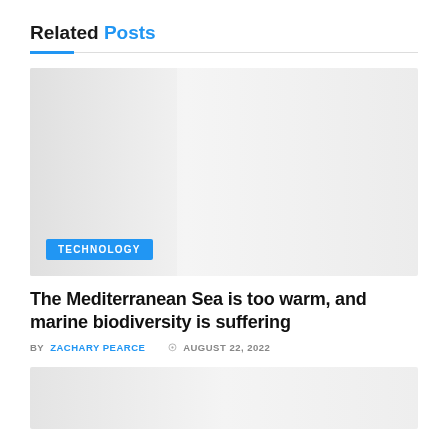Related Posts
[Figure (photo): Gray placeholder image for a post thumbnail with a blue TECHNOLOGY badge in the lower left]
The Mediterranean Sea is too warm, and marine biodiversity is suffering
BY ZACHARY PEARCE  AUGUST 22, 2022
[Figure (photo): Second gray placeholder image for another post thumbnail, partially visible at the bottom]